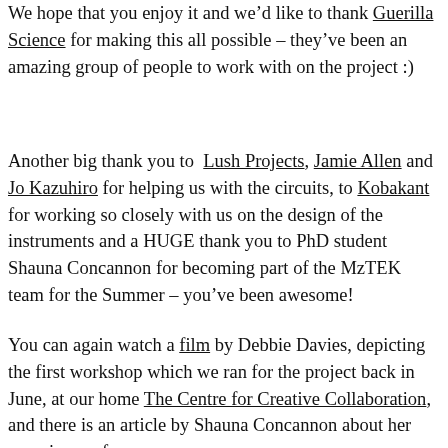We hope that you enjoy it and we'd like to thank Guerilla Science for making this all possible – they've been an amazing group of people to work with on the project :)
Another big thank you to Lush Projects, Jamie Allen and Jo Kazuhiro for helping us with the circuits, to Kobakant for working so closely with us on the design of the instruments and a HUGE thank you to PhD student Shauna Concannon for becoming part of the MzTEK team for the Summer – you've been awesome!
You can again watch a film by Debbie Davies, depicting the first workshop which we ran for the project back in June, at our home The Centre for Creative Collaboration, and there is an article by Shauna Concannon about her experience of working on the project at MzTEK called 'the future'...